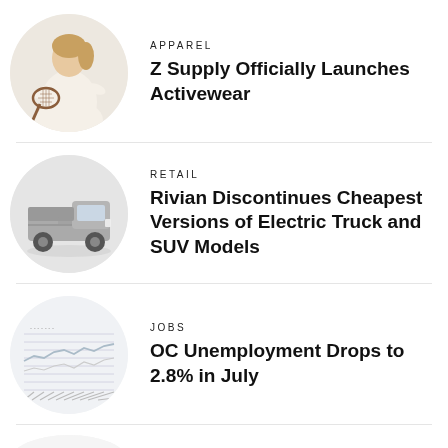[Figure (photo): Circular photo of a woman in white tennis outfit holding a racket]
APPAREL
Z Supply Officially Launches Activewear
[Figure (photo): Circular photo of a grey Rivian electric truck on white background]
RETAIL
Rivian Discontinues Cheapest Versions of Electric Truck and SUV Models
[Figure (photo): Circular photo of a line chart showing unemployment data]
JOBS
OC Unemployment Drops to 2.8% in July
[Figure (photo): Partial circular photo, partially visible at bottom of page]